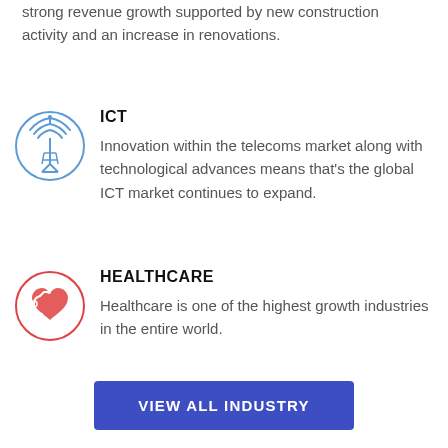strong revenue growth supported by new construction activity and an increase in renovations.
[Figure (illustration): ICT icon: a broadcast tower with signal waves inside a blue circle]
ICT
Innovation within the telecoms market along with technological advances means that's the global ICT market continues to expand.
[Figure (illustration): Healthcare icon: a heart with a stethoscope inside a red circle]
HEALTHCARE
Healthcare is one of the highest growth industries in the entire world.
VIEW ALL INDUSTRY